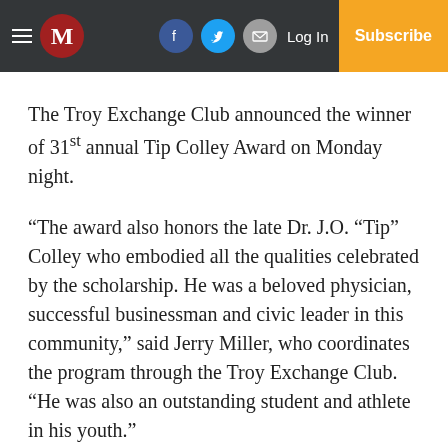M | Log In | Subscribe
The Troy Exchange Club announced the winner of 31st annual Tip Colley Award on Monday night.
“The award also honors the late Dr. J.O. “Tip” Colley who embodied all the qualities celebrated by the scholarship. He was a beloved physician, successful businessman and civic leader in this community,” said Jerry Miller, who coordinates the program through the Troy Exchange Club. “He was also an outstanding student and athlete in his youth.”
The Exchange Club selected Jheran Turner, from New